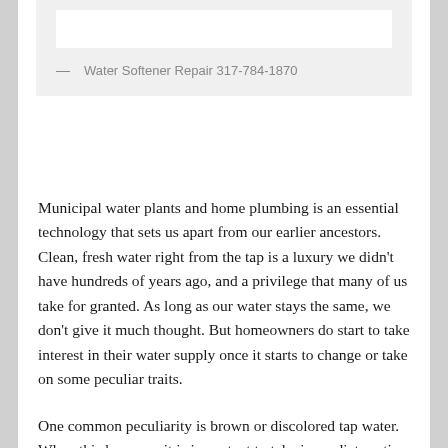— Water Softener Repair 317-784-1870
Municipal water plants and home plumbing is an essential technology that sets us apart from our earlier ancestors. Clean, fresh water right from the tap is a luxury we didn't have hundreds of years ago, and a privilege that many of us take for granted. As long as our water stays the same, we don't give it much thought. But homeowners do start to take interest in their water supply once it starts to change or take on some peculiar traits.
One common peculiarity is brown or discolored tap water. When this happens, it is important to take immediate action to resolve the issue and restore your home comfort before the root of the cause becomes worse, and more costly to repair. It is best for a small problem to be caught early on before major damage can occur to your home's plumbing or appliances. Continue reading to learn why this happens to tap water and how to fix the problem.